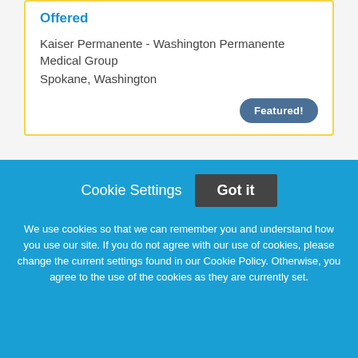Offered
Kaiser Permanente - Washington Permanente Medical Group
Spokane, Washington
Featured!
[Figure (logo): Permanente banner/logo with dark blue background and white text reading PERMANENTE]
Cookie Settings    Got it
We use cookies so that we can remember you and understand how you use our site. If you do not agree with our use of cookies, please change the current settings found in our Cookie Policy. Otherwise, you agree to the use of the cookies as they are currently set.